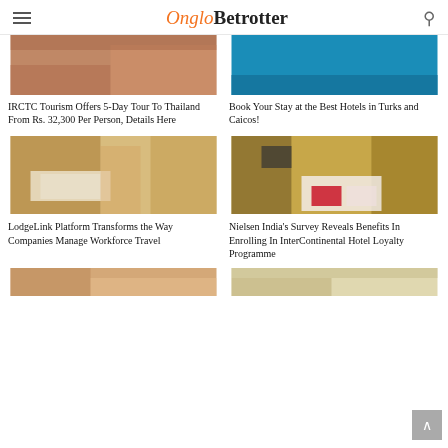OngloBetrotter
[Figure (photo): Partial hotel room or travel photo, left column top]
[Figure (photo): Blue banner strip for hotel booking article, right column top]
IRCTC Tourism Offers 5-Day Tour To Thailand From Rs. 32,300 Per Person, Details Here
Book Your Stay at the Best Hotels in Turks and Caicos!
[Figure (photo): Hotel room with two beds, warm golden tones, curtains and window]
[Figure (photo): Dark hotel room with red accent pillows and TV]
LodgeLink Platform Transforms the Way Companies Manage Workforce Travel
Nielsen India's Survey Reveals Benefits In Enrolling In InterContinental Hotel Loyalty Programme
[Figure (photo): Partial bottom left image, warm tones]
[Figure (photo): Partial bottom right image, dark tones]